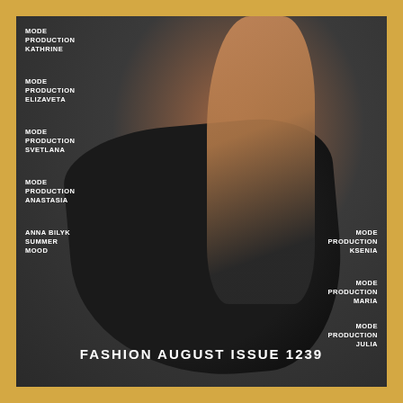[Figure (photo): Fashion magazine cover showing a woman in a black satin slip dress posed on a dark grey background]
MODE
PRODUCTION
KATHRINE
MODE
PRODUCTION
ELIZAVETA
MODE
PRODUCTION
SVETLANA
MODE
PRODUCTION
ANASTASIA
ANNA BILYK
SUMMER
MOOD
MODE
PRODUCTION
KSENIA
MODE
PRODUCTION
MARIA
MODE
PRODUCTION
JULIA
FASHION AUGUST ISSUE 1239